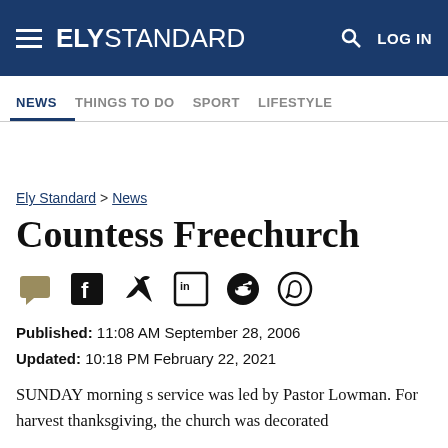ELY STANDARD — LOG IN
NEWS  THINGS TO DO  SPORT  LIFESTYLE
Ely Standard > News
Countess Freechurch
Published: 11:08 AM September 28, 2006
Updated: 10:18 PM February 22, 2021
SUNDAY morning s service was led by Pastor Lowman. For harvest thanksgiving, the church was decorated